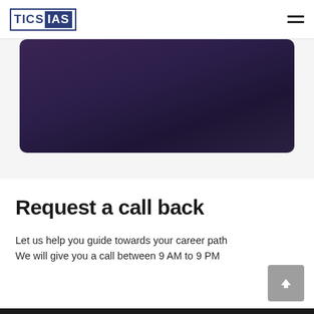TICS IAS
[Figure (illustration): Dark purple gradient banner/hero image area with rounded corners]
Request a call back
Let us help you guide towards your career path
We will give you a call between 9 AM to 9 PM